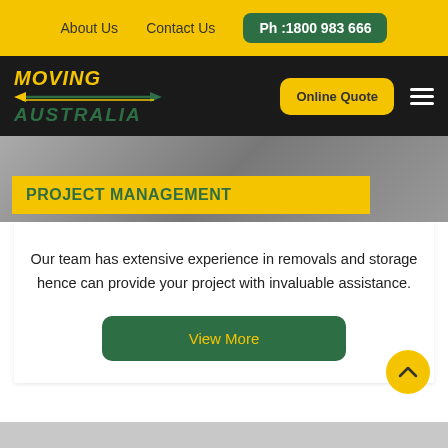About Us   Contact Us   Ph :1800 983 666
[Figure (logo): Moving Australia logo with yellow MOVING italic text, green arrow lines, and green italic AUSTRALIA text on black background. Online Quote button and hamburger menu also visible.]
[Figure (photo): Background hero image with PROJECT MANAGEMENT yellow banner overlaid in green bold uppercase text]
Our team has extensive experience in removals and storage hence can provide your project with invaluable assistance.
View More